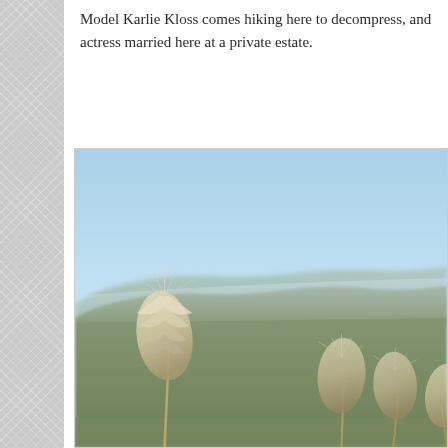Model Karlie Kloss comes hiking here to decompress, and actress married here at a private estate.
[Figure (photo): Outdoor landscape photo showing pampas grass with feathery plumes in the foreground, with blurred hilly terrain covered in green scrub vegetation in the middle ground, and a clear pale blue sky in the background. The photo is taken on a sunny day with bright natural light.]